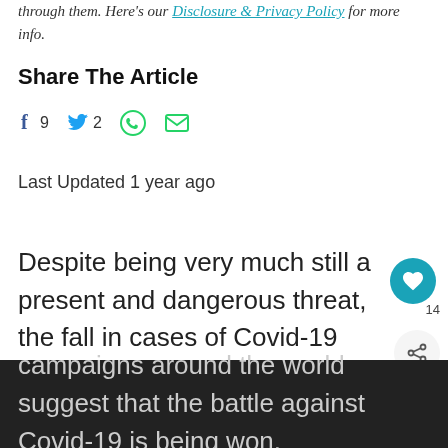through them. Here's our Disclosure & Privacy Policy for more info.
Share The Article
[Figure (infographic): Social share icons: Facebook (f) with count 9, Twitter bird with count 2, WhatsApp circle icon, Email envelope icon]
Last Updated 1 year ago
Despite being very much still a present and dangerous threat, the fall in cases of Covid-19 globally, the easing of restrictions by several countries and the progress of the vaccination campaigns around the world suggest that the battle against Covid-19 is being won.